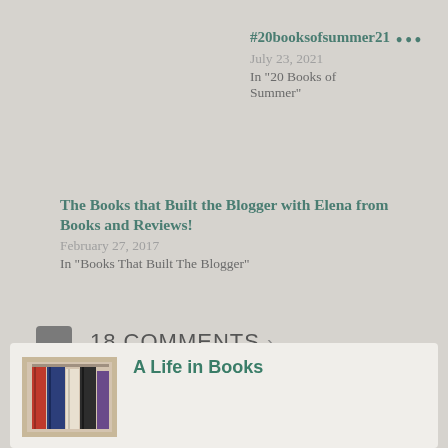#20booksofsummer21
July 23, 2021
In "20 Books of Summer"
The Books that Built the Blogger with Elena from Books and Reviews!
February 27, 2017
In "Books That Built The Blogger"
18 Comments ›
A Life in Books